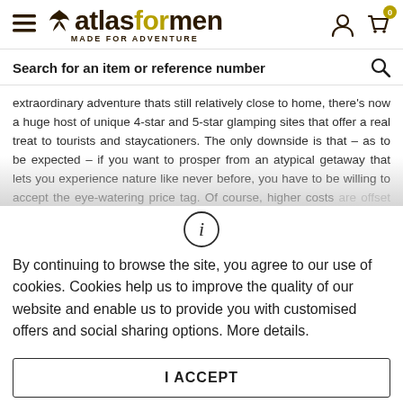atlasformen MADE FOR ADVENTURE
Search for an item or reference number
extraordinary adventure thats still relatively close to home, there's now a huge host of unique 4-star and 5-star glamping sites that offer a real treat to tourists and staycationers. The only downside is that – as to be expected – if you want to prosper from an atypical getaway that lets you experience nature like never before, you have to be willing to accept the eye-watering price tag. Of course, higher costs are offset by the elevated standard – think breathtaking views, glorious food and totally (don't forget you...
By continuing to browse the site, you agree to our use of cookies. Cookies help us to improve the quality of our website and enable us to provide you with customised offers and social sharing options. More details.
I ACCEPT